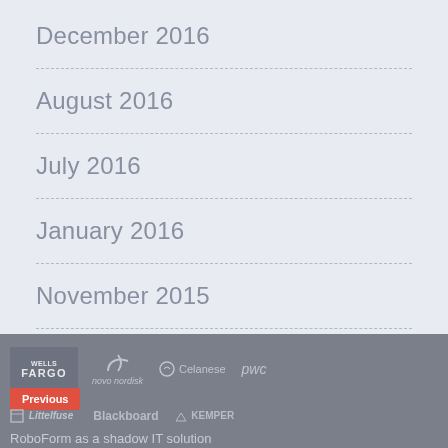December 2016
August 2016
July 2016
January 2016
November 2015
October 2015
March 2015
[Figure (logo): Company logos: Wells Fargo, Novo Nordisk, Celanese, PwC, Littelfuse, Blackboard, Kemper]
Previous
RoboForm as a shadow IT solution